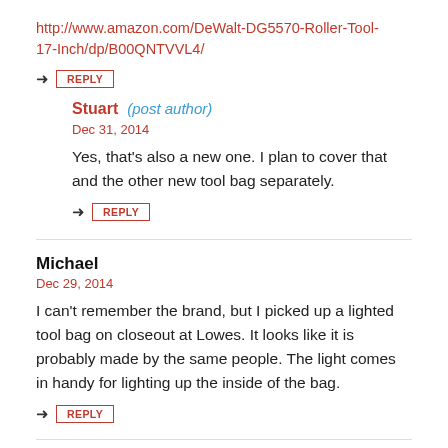http://www.amazon.com/DeWalt-DG5570-Roller-Tool-17-Inch/dp/B00QNTVVL4/
→ REPLY
Stuart (post author)
Dec 31, 2014
Yes, that's also a new one. I plan to cover that and the other new tool bag separately.
→ REPLY
Michael
Dec 29, 2014
I can't remember the brand, but I picked up a lighted tool bag on closeout at Lowes. It looks like it is probably made by the same people. The light comes in handy for lighting up the inside of the bag.
→ REPLY